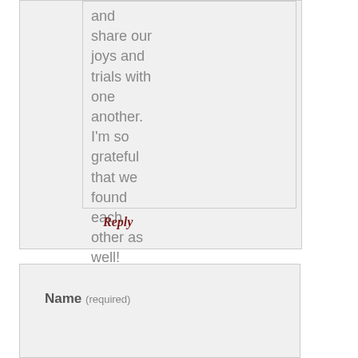and share our joys and trials with one another. I'm so grateful that we found each other as well!
Reply
Name (required)